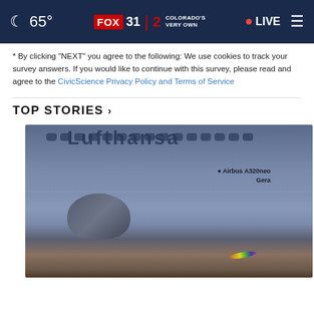65° FOX 31 2 COLORADO'S VERY OWN LIVE
* By clicking "NEXT" you agree to the following: We use cookies to track your survey answers. If you would like to continue with this survey, please read and agree to the CivicScience Privacy Policy and Terms of Service
TOP STORIES ›
[Figure (photo): Close-up photo of an airplane fuselage showing windows and an engine. Text on the aircraft reads 'Airbus A320neo Gera'. A rainbow lens flare is visible near the bottom right.]